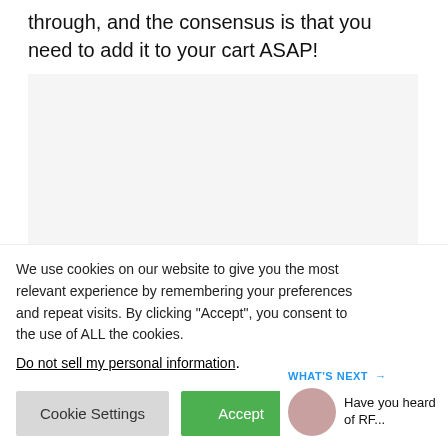through, and the consensus is that you need to add it to your cart ASAP!
[Figure (other): Light gray rectangular placeholder image area]
We use cookies on our website to give you the most relevant experience by remembering your preferences and repeat visits. By clicking “Accept”, you consent to the use of ALL the cookies.
Do not sell my personal information.
Cookie Settings
Accept
WHAT’S NEXT → Have you heard of RF...